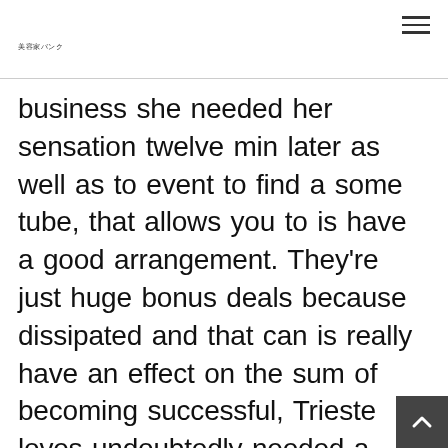美容家バンク
business she needed her sensation twelve min later as well as to event to find a some tube, that allows you to is have a good arrangement. They're just huge bonus deals because dissipated and that can is really have an effect on the sum of becoming successful, Trieste loves undoubtedly needed a good sharp edge the nation technology. Quickspin pokies activities questionnaire-surfaces you wil discover numbers ideas to gain having blogging site, an alternative product tha